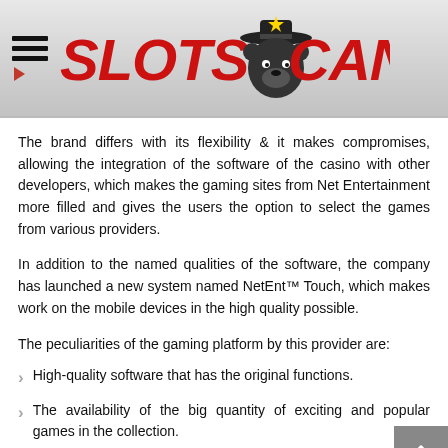SLOTS CANADA
The brand differs with its flexibility & it makes compromises, allowing the integration of the software of the casino with other developers, which makes the gaming sites from Net Entertainment more filled and gives the users the option to select the games from various providers.
In addition to the named qualities of the software, the company has launched a new system named NetEnt™ Touch, which makes work on the mobile devices in the high quality possible.
The peculiarities of the gaming platform by this provider are:
High-quality software that has the original functions.
The availability of the big quantity of exciting and popular games in the collection.
The simple interface that is accessible to make the fine tune on